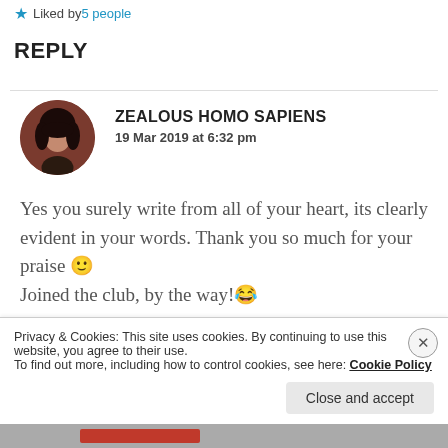⭐ Liked by 5 people
REPLY
[Figure (photo): Circular avatar photo of a person with dark hair against a dark reddish-brown background]
ZEALOUS HOMO SAPIENS
19 Mar 2019 at 6:32 pm
Yes you surely write from all of your heart, its clearly evident in your words. Thank you so much for your praise 🙂
Joined the club, by the way!😂
Privacy & Cookies: This site uses cookies. By continuing to use this website, you agree to their use.
To find out more, including how to control cookies, see here: Cookie Policy
Close and accept